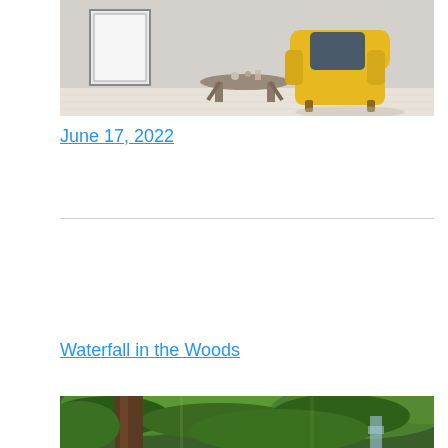[Figure (photo): Interior room scene with a yellow armchair with a dark blue pillow, a small round side table with decorative items, a blank picture frame leaning against a light grey textured wall, light wood floor]
June 17, 2022
[Figure (photo): Forest scene with green foliage, large tree trunk, and waterfall in the background]
Waterfall in the Woods